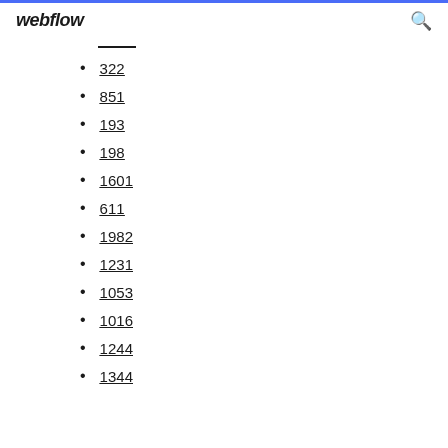webflow
322
851
193
198
1601
611
1982
1231
1053
1016
1244
1344